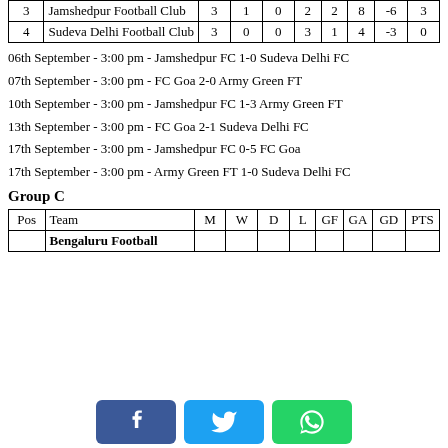| Pos | Team | M | W | D | L | GF | GA | GD | PTS |
| --- | --- | --- | --- | --- | --- | --- | --- | --- | --- |
| 3 | Jamshedpur Football Club | 3 | 1 | 0 | 2 | 2 | 8 | -6 | 3 |
| 4 | Sudeva Delhi Football Club | 3 | 0 | 0 | 3 | 1 | 4 | -3 | 0 |
06th September - 3:00 pm - Jamshedpur FC 1-0 Sudeva Delhi FC
07th September - 3:00 pm - FC Goa 2-0 Army Green FT
10th September - 3:00 pm - Jamshedpur FC 1-3 Army Green FT
13th September - 3:00 pm - FC Goa 2-1 Sudeva Delhi FC
17th September - 3:00 pm - Jamshedpur FC 0-5 FC Goa
17th September - 3:00 pm - Army Green FT 1-0 Sudeva Delhi FC
Group C
| Pos | Team | M | W | D | L | GF | GA | GD | PTS |
| --- | --- | --- | --- | --- | --- | --- | --- | --- | --- |
|  | Bengaluru Football |  |  |  |  |  |  |  |  |